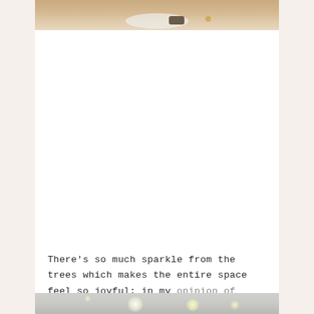[Figure (photo): Top portion of a photo showing a plate/bowl on a wooden surface with food items, partially cropped at the top of the page]
There's so much sparkle from the trees which makes the entire space feel so joyful; in my opinion of course.
[Figure (photo): Bottom portion of a photo showing bokeh lights, partially cropped at the bottom of the page]